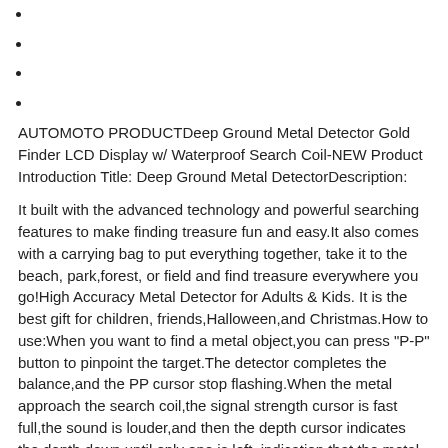AUTOMOTO PRODUCTDeep Ground Metal Detector Gold Finder LCD Display w/ Waterproof Search Coil-NEW Product Introduction Title: Deep Ground Metal DetectorDescription:
It built with the advanced technology and powerful searching features to make finding treasure fun and easy.It also comes with a carrying bag to put everything together, take it to the beach, park,forest, or field and find treasure everywhere you go!High Accuracy Metal Detector for Adults & Kids. It is the best gift for children, friends,Halloween,and Christmas.How to use:When you want to find a metal object,you can press "P-P" button to pinpoint the target.The detector completes the balance,and the PP cursor stop flashing.When the metal approach the search coil,the signal strength cursor is fast full,the sound is louder,and then the depth cursor indicates the depth down until only one is left, indication that the metal is gradually approaching the center of the search coil.Package Includes: 1x Metal Detector 1x Shovel 1x Carrying Bag